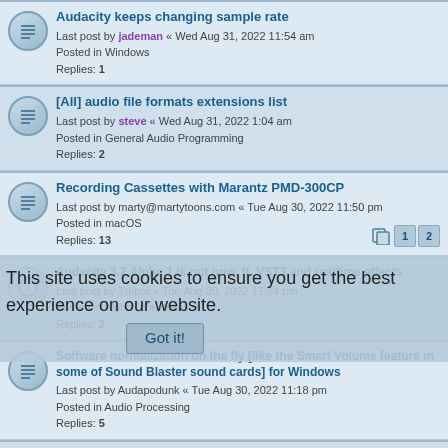Audacity keeps changing sample rate
Last post by jademan « Wed Aug 31, 2022 11:54 am
Posted in Windows
Replies: 1
[All] audio file formats extensions list
Last post by steve « Wed Aug 31, 2022 1:04 am
Posted in General Audio Programming
Replies: 2
Recording Cassettes with Marantz PMD-300CP
Last post by marty@martytoons.com « Tue Aug 30, 2022 11:50 pm
Posted in macOS
Replies: 13
Audacity 3.2 Alpha 1 is out now, ft. VST3 and realtime effects
Last post by Trebor « Tue Aug 30, 2022 11:24 pm
Posted in Alpha (pre-release)
Replies: 2
Software normalization on the fly [like the Smart Volume feature in some of Sound Blaster sound cards] for Windows
Last post by Audapodunk « Tue Aug 30, 2022 11:18 pm
Posted in Audio Processing
Replies: 5
List of file formats supported by Audacity
Last post by Audapodunk « Tue Aug 30, 2022 10:55 pm
Posted in Audacity 3.x Feedback and Reviews
Replies: 2
Freeze on Export Multiple
Last post by iraj « Tue Aug 30, 2022 7:59 pm
Posted in GNU/Linux
Replies: 4
This site uses cookies to ensure you get the best experience on our website.
Got it!